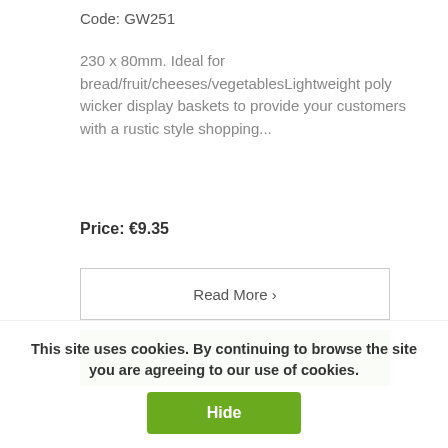Code: GW251
230 x 80mm. Ideal for bread/fruit/cheeses/vegetablesLightweight poly wicker display baskets to provide your customers with a rustic style shopping...
Price: €9.35
Read More ›
Add To Basket
This site uses cookies. By continuing to browse the site you are agreeing to our use of cookies.
Hide